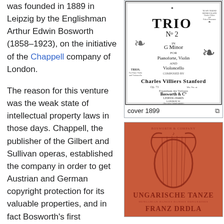was founded in 1889 in Leipzig by the Englishman Arthur Edwin Bosworth (1858–1923), on the initiative of the Chappell company of London.
[Figure (illustration): Sheet music cover for Trio No. 2 in G Minor for Pianoforte, Violin and Violoncello by Charles Villiers Stanford, published by Bosworth & Co., Leipzig, London, Paris. Cover dated 1899.]
cover 1899
The reason for this venture was the weak state of intellectual property laws in those days. Chappell, the publisher of the Gilbert and Sullivan operas, established the company in order to get Austrian and German copyright protection for its valuable properties, and in fact Bosworth's first publication was the vocal score of The Gondoliers. Bosworth and Chappell put up the initial capital, but Chappell took no part in the management, leaving it all to the adventurous Bosworth, whose main deficiency was a lack of German
[Figure (illustration): Sheet music cover for Ungarische Tanze by Franz Drdla, with an orange/red background featuring a decorative lyre graphic.]